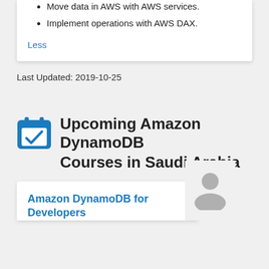Move data in AWS with AWS services.
Implement operations with AWS DAX.
Less
Last Updated: 2019-10-25
Upcoming Amazon DynamoDB Courses in Saudi Arabia
Amazon DynamoDB for Developers